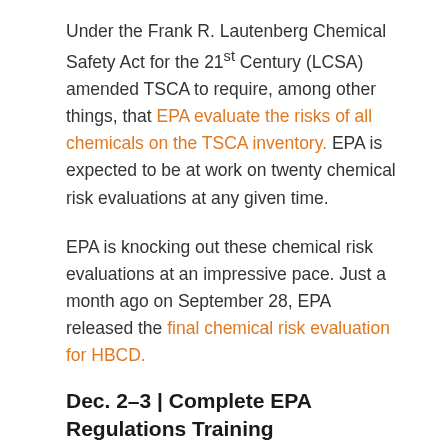Under the Frank R. Lautenberg Chemical Safety Act for the 21st Century (LCSA) amended TSCA to require, among other things, that EPA evaluate the risks of all chemicals on the TSCA inventory. EPA is expected to be at work on twenty chemical risk evaluations at any given time.
EPA is knocking out these chemical risk evaluations at an impressive pace. Just a month ago on September 28, EPA released the final chemical risk evaluation for HBCD.
Dec. 2–3 | Complete EPA Regulations Training
This unique two-day webinar covers the latest environmental regulations you should be familiar